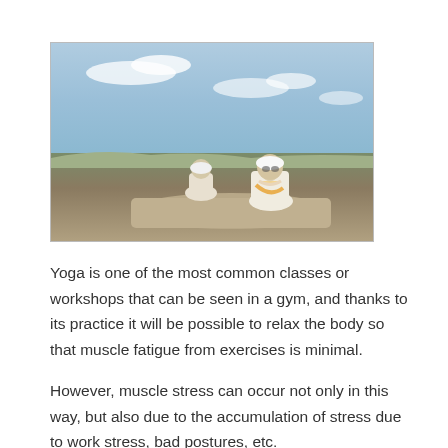[Figure (photo): Two people in white robes and turbans sitting cross-legged in meditation outdoors on rocky terrain with open sky and landscape in background]
Yoga is one of the most common classes or workshops that can be seen in a gym, and thanks to its practice it will be possible to relax the body so that muscle fatigue from exercises is minimal.
However, muscle stress can occur not only in this way, but also due to the accumulation of stress due to work stress, bad postures, etc.
Marie Elodhi